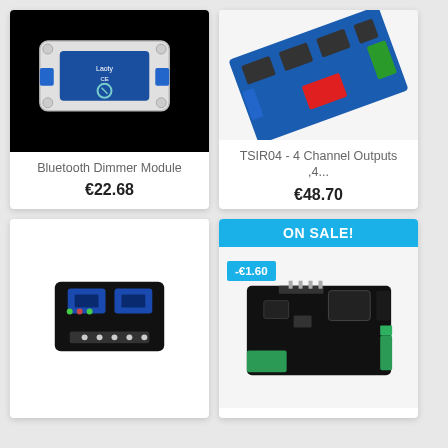[Figure (photo): Bluetooth Dimmer Module in white plastic enclosure with blue label, mounted against black background]
Bluetooth Dimmer Module
€22.68
[Figure (photo): TSIR04 4-channel relay board with blue PCB, green terminal blocks and red component, photographed on white background]
TSIR04 - 4 Channel Outputs ,4...
€48.70
[Figure (photo): 2-channel relay module on black PCB with two blue relays and connector pins, white background]
ON SALE!
-€1.60
[Figure (photo): Two-relay board on black PCB with green terminal blocks and electronic components, photographed on white background]